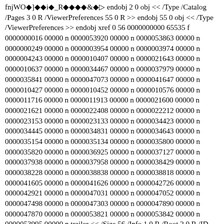fnjWO◆]◆◆i◆_R◆◆◆◆&◆▷ endobj 2 0 obj << /Type /Catalog /Pages 3 0 R /ViewerPreferences 55 0 R >> endobj 55 0 obj << /Type /ViewerPreferences >> endobj xref 0 56 0000000000 65535 f 0000000016 00000 n 0000053920 00000 n 0000053863 00000 n 0000000249 00000 n 0000003954 00000 n 0000003974 00000 n 0000004243 00000 n 0000010407 00000 n 0000021643 00000 n 0000010637 00000 n 0000034467 00000 n 0000037979 00000 n 0000035841 00000 n 0000047073 00000 n 0000041647 00000 n 0000010427 00000 n 0000010452 00000 n 0000010576 00000 n 0000011716 00000 n 0000011913 00000 n 0000021600 00000 n 0000021621 00000 n 0000022408 00000 n 0000022212 00000 n 0000023153 00000 n 0000023133 00000 n 0000034423 00000 n 0000034445 00000 n 0000034831 00000 n 0000034643 00000 n 0000035154 00000 n 0000035134 00000 n 0000035800 00000 n 0000035820 00000 n 0000036925 00000 n 0000037127 00000 n 0000037938 00000 n 0000037958 00000 n 0000038429 00000 n 0000038228 00000 n 0000038838 00000 n 0000038818 00000 n 0000041605 00000 n 0000041626 00000 n 0000042726 00000 n 0000042921 00000 n 0000047031 00000 n 0000047052 00000 n 0000047498 00000 n 0000047303 00000 n 0000047890 00000 n 0000047870 00000 n 0000053821 00000 n 0000053842 00000 n 0000053995 00000 n trailer << /Size 56 /Info 1 0 R /Root 2 0 R /ID [<3D181875396E7962EE390E321594268C> <3D181875396E7962EE390E321594268C>] >> startxref 54042 %%EOF